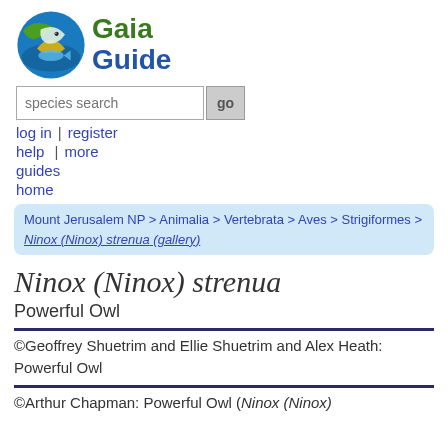[Figure (logo): Gaia Guide logo with circular bird/fish icon and text 'Gaia Guide']
species search  go
log in | register
help | more
guides
home
Mount Jerusalem NP > Animalia > Vertebrata > Aves > Strigiformes > Ninox (Ninox) strenua (gallery)
Ninox (Ninox) strenua
Powerful Owl
©Geoffrey Shuetrim and Ellie Shuetrim and Alex Heath: Powerful Owl
©Arthur Chapman: Powerful Owl (Ninox (Ninox)